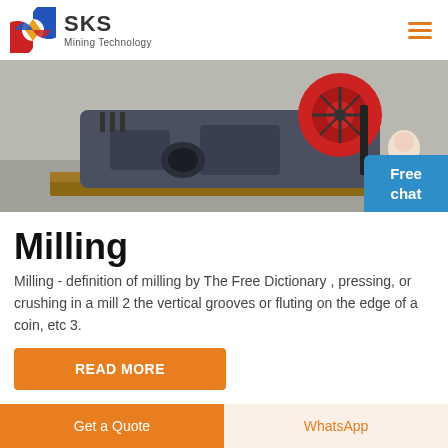SKS Mining Technology
[Figure (photo): Industrial mining crusher machine (gray metal body with red flywheel) sitting on wooden pallets on a concrete floor, photographed in a warehouse or factory setting.]
Milling
Milling - definition of milling by The Free Dictionary , pressing, or crushing in a mill 2 the vertical grooves or fluting on the edge of a coin, etc 3.
READ MORE
Get a Quote
WhatsApp